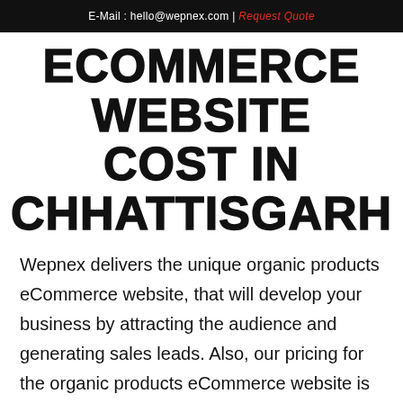E-Mail : hello@wepnex.com | Request Quote
ECOMMERCE WEBSITE COST IN CHHATTISGARH
Wepnex delivers the unique organic products eCommerce website, that will develop your business by attracting the audience and generating sales leads. Also, our pricing for the organic products eCommerce website is competitive and based on industry standards. Which is affordable for the best website by the leading eCommerce website